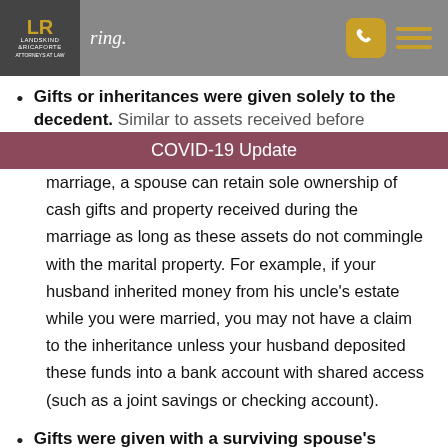Landskind & Ricaforte | ring.
Gifts or inheritances were given solely to the decedent. Similar to assets received before marriage, a spouse can retain sole ownership of cash gifts and property received during the marriage as long as these assets do not commingle with the marital property. For example, if your husband inherited money from his uncle’s estate while you were married, you may not have a claim to the inheritance unless your husband deposited these funds into a bank account with shared access (such as a joint savings or checking account).
COVID-19 Update
Gifts were given with a surviving spouse’s